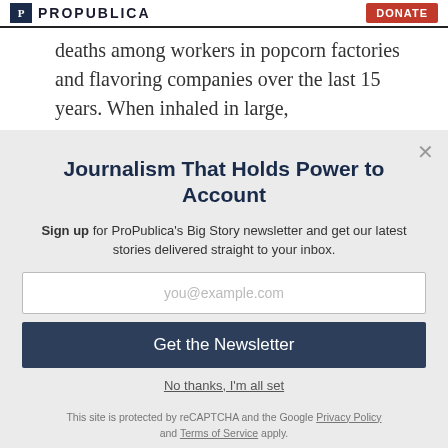ProPublica | Donate
deaths among workers in popcorn factories and flavoring companies over the last 15 years. When inhaled in large,
Journalism That Holds Power to Account
Sign up for ProPublica's Big Story newsletter and get our latest stories delivered straight to your inbox.
you@example.com
Get the Newsletter
No thanks, I'm all set
This site is protected by reCAPTCHA and the Google Privacy Policy and Terms of Service apply.